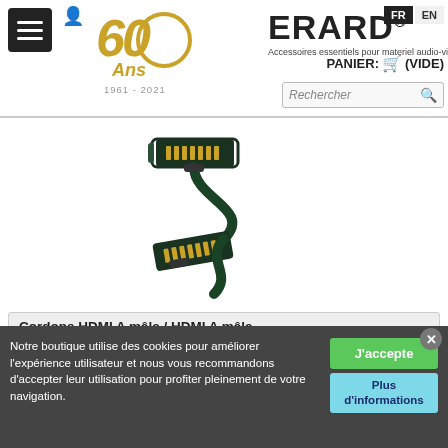ERARD® — Accessoires essentiels pour materiel audio-video — FR EN — PANIER: (VIDE) — Rechercher
[Figure (photo): HDMI cable with two male connectors, dark green/black cable with gold-tipped connectors, shown against white background]
Cordons HDMI A mâle / HDMI A mâle
Cordon HDMI A M/M - PERFORM - 4K/60ips HDR 4-4-4 - gaine pvc noire - OR - 0m80
Comparer
Notre boutique utilise des cookies pour améliorer l'expérience utilisateur et nous vous recommandons d'accepter leur utilisation pour profiter pleinement de votre navigation.